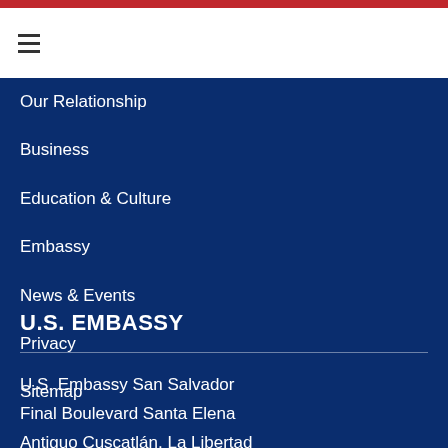Our Relationship
Business
Education & Culture
Embassy
News & Events
Privacy
Sitemap
U.S. EMBASSY
U.S. Embassy San Salvador
Final Boulevard Santa Elena
Antiguo Cuscatlán, La Libertad